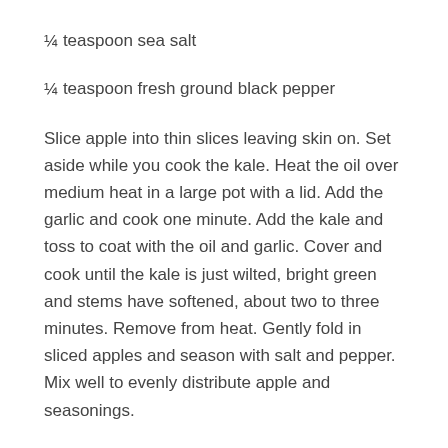¼ teaspoon sea salt
¼ teaspoon fresh ground black pepper
Slice apple into thin slices leaving skin on. Set aside while you cook the kale. Heat the oil over medium heat in a large pot with a lid. Add the garlic and cook one minute. Add the kale and toss to coat with the oil and garlic. Cover and cook until the kale is just wilted, bright green and stems have softened, about two to three minutes. Remove from heat. Gently fold in sliced apples and season with salt and pepper. Mix well to evenly distribute apple and seasonings.